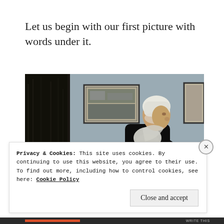Let us begin with our first picture with words under it.
[Figure (illustration): Whistler's Mother painting – an elderly woman in black dress and white cap/shawl seated in profile against a grey wall, with framed pictures hanging on the wall behind her.]
Privacy & Cookies: This site uses cookies. By continuing to use this website, you agree to their use.
To find out more, including how to control cookies, see here: Cookie Policy
Close and accept